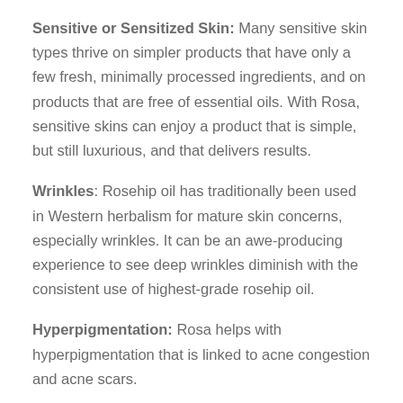Sensitive or Sensitized Skin: Many sensitive skin types thrive on simpler products that have only a few fresh, minimally processed ingredients, and on products that are free of essential oils. With Rosa, sensitive skins can enjoy a product that is simple, but still luxurious, and that delivers results.
Wrinkles: Rosehip oil has traditionally been used in Western herbalism for mature skin concerns, especially wrinkles. It can be an awe-producing experience to see deep wrinkles diminish with the consistent use of highest-grade rosehip oil.
Hyperpigmentation: Rosa helps with hyperpigmentation that is linked to acne congestion and acne scars.